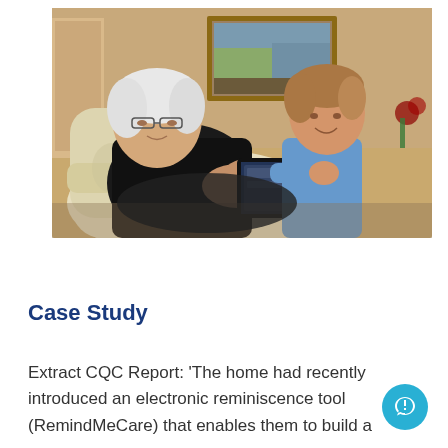[Figure (photo): An elderly man sitting in an armchair with a young boy beside him, both looking at a tablet device being held in the elderly man's hands. A framed painting hangs on the wall behind them.]
Case Study
Extract CQC Report: 'The home had recently introduced an electronic reminiscence tool (RemindMeCare) that enables them to build a